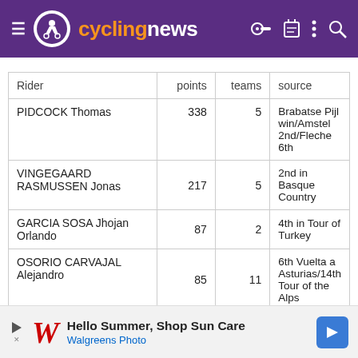cyclingnews
| Rider | points | teams | source |
| --- | --- | --- | --- |
| PIDCOCK Thomas | 338 | 5 | Brabatse Pijl win/Amstel 2nd/Fleche 6th |
| VINGEGAARD RASMUSSEN Jonas | 217 | 5 | 2nd in Basque Country |
| GARCIA SOSA Jhojan Orlando | 87 | 2 | 4th in Tour of Turkey |
| OSORIO CARVAJAL Alejandro | 85 | 11 | 6th Vuelta a Asturias/14th Tour of the Alps |
| MERTZ Rémy | 74 | 2 | 7th in Valenciana |
| ARENSMAN Thymen | 65 | 14 | 11th in Romandy |
| VAN WILDER Ilan | 60 | 1 |  |
[Figure (other): Walgreens Photo advertisement banner: Hello Summer, Shop Sun Care]